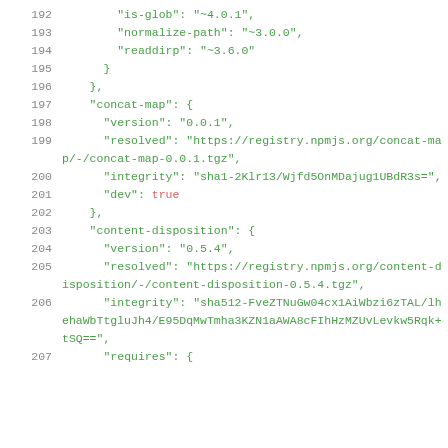Code listing lines 192-207: JSON package-lock.json snippet showing is-glob, normalize-path, readdirp, concat-map, content-disposition entries
[Figure (screenshot): Source code viewer showing JSON package-lock.json with line numbers 192-207, green monospace text on white background. Shows package entries for is-glob ~4.0.1, normalize-path ~3.0.0, readdirp ~3.6.0, concat-map 0.0.1 with resolved URL and integrity hash, dev: true, content-disposition 0.5.4 with resolved URL and sha512 integrity hash.]